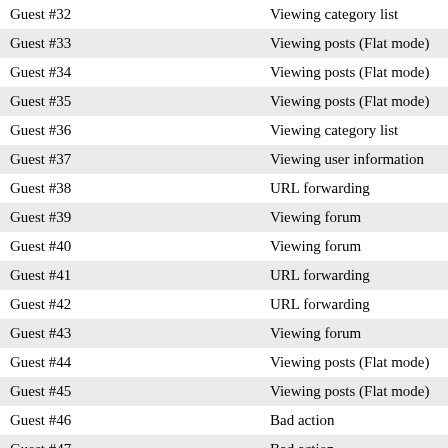| Guest #32 | Viewing category list |
| Guest #33 | Viewing posts (Flat mode) |
| Guest #34 | Viewing posts (Flat mode) |
| Guest #35 | Viewing posts (Flat mode) |
| Guest #36 | Viewing category list |
| Guest #37 | Viewing user information |
| Guest #38 | URL forwarding |
| Guest #39 | Viewing forum |
| Guest #40 | Viewing forum |
| Guest #41 | URL forwarding |
| Guest #42 | URL forwarding |
| Guest #43 | Viewing forum |
| Guest #44 | Viewing posts (Flat mode) |
| Guest #45 | Viewing posts (Flat mode) |
| Guest #46 | Bad action |
| Guest #47 | Bad action |
| Guest #48 | Viewing posts (Flat mode) |
| Guest #49 | Viewing posts (Flat mode) |
| Guest #50 | URL forwarding |